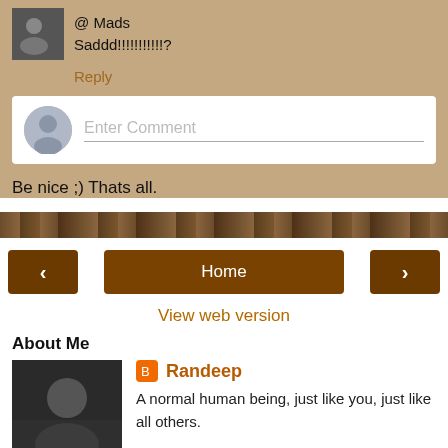@ Mads
Saddd!!!!!!!!!!!?
Reply
Enter Comment
Be nice ;) Thats all.
Home
View web version
About Me
Randeep
A normal human being, just like you, just like all others.
View my complete profile